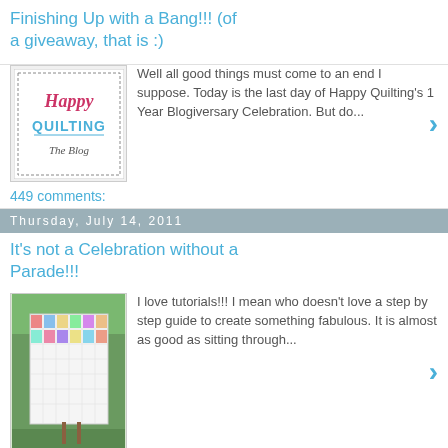Finishing Up with a Bang!!! (of a giveaway, that is :)
[Figure (photo): Happy Quilting The Blog logo thumbnail]
Well all good things must come to an end I suppose.  Today is the last day of  Happy Quilting's 1 Year Blogiversary Celebration.  But do...
449 comments:
Thursday, July 14, 2011
It's not a Celebration without a Parade!!!
[Figure (photo): Photo of a colorful patchwork quilt hanging outdoors]
I love tutorials!!!  I mean who doesn't love a step by step guide to create something fabulous.  It is almost as good as sitting through...
14 comments:
Wednesday, July 13, 2011
Another Celebration